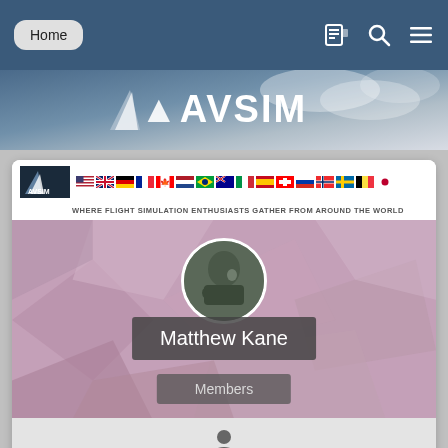Home
[Figure (logo): AVSIM logo banner with international flags and tagline: WHERE FLIGHT SIMULATION ENTHUSIASTS GATHER FROM AROUND THE WORLD]
[Figure (photo): Matthew Kane profile avatar - circular photo of person]
Matthew Kane
Members
[Figure (illustration): User/person icon silhouette]
CONTENT COUNT
4,900